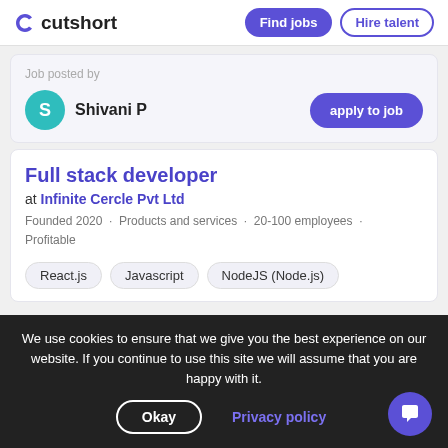cutshort | Find jobs | Hire talent
Job posted by
Shivani P
apply to job
Full stack developer
at Infinite Cercle Pvt Ltd
Founded 2020 • Products and services • 20-100 employees • Profitable
React.js
Javascript
NodeJS (Node.js)
We use cookies to ensure that we give you the best experience on our website. If you continue to use this site we will assume that you are happy with it.
Okay | Privacy policy